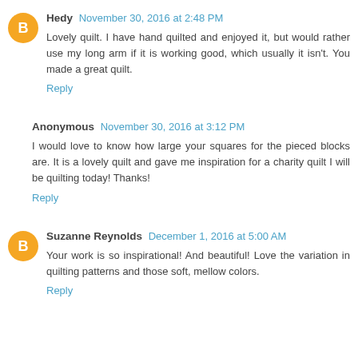Hedy  November 30, 2016 at 2:48 PM
Lovely quilt. I have hand quilted and enjoyed it, but would rather use my long arm if it is working good, which usually it isn't. You made a great quilt.
Reply
Anonymous  November 30, 2016 at 3:12 PM
I would love to know how large your squares for the pieced blocks are. It is a lovely quilt and gave me inspiration for a charity quilt I will be quilting today! Thanks!
Reply
Suzanne Reynolds  December 1, 2016 at 5:00 AM
Your work is so inspirational! And beautiful! Love the variation in quilting patterns and those soft, mellow colors.
Reply